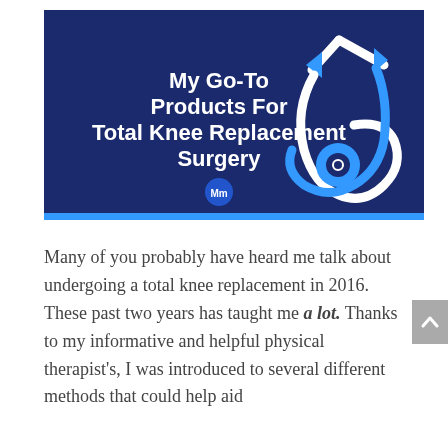[Figure (illustration): Dark navy blue banner image with white and blue stethoscope illustration on the right side. Center-left text reads 'My Go-To Products For Total Knee Replacement Surgery' in white bold font. A small circular logo/icon is below the text.]
Many of you probably have heard me talk about undergoing a total knee replacement in 2016. These past two years has taught me a lot. Thanks to my informative and helpful physical therapist's, I was introduced to several different methods that could help aid